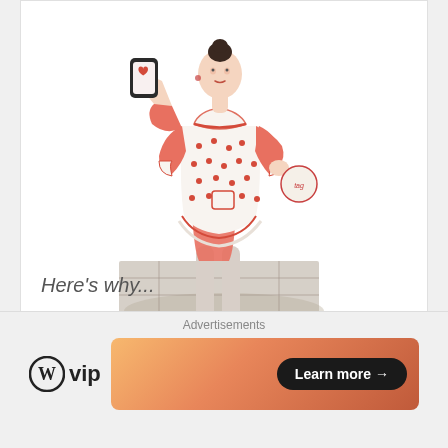[Figure (illustration): Retro-style illustration of a woman in a white polka-dot dress and apron with red accents, holding a smartphone with a heart icon, standing on a tiled floor, drawn in a mid-century fashion illustration style]
Here's why...
Advertisements
[Figure (logo): WordPress VIP logo with circular W icon and 'vip' text]
[Figure (illustration): Advertisement banner with warm orange/peach gradient and a 'Learn more →' dark pill button]